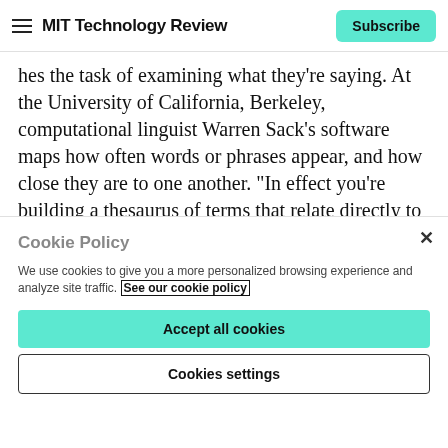MIT Technology Review
hes the task of examining what they're saying. At the University of California, Berkeley, computational linguist Warren Sack's software maps how often words or phrases appear, and how close they are to one another. “In effect you’re building a thesaurus of terms that relate directly to the conversation being studied,” says Sack. “You can see constellations of conversations, and see which topics are being discussed more than others.” One test of this
Cookie Policy
We use cookies to give you a more personalized browsing experience and analyze site traffic. See our cookie policy
Accept all cookies
Cookies settings